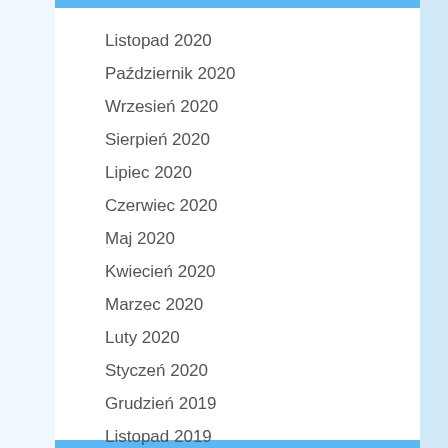Listopad 2020
Październik 2020
Wrzesień 2020
Sierpień 2020
Lipiec 2020
Czerwiec 2020
Maj 2020
Kwiecień 2020
Marzec 2020
Luty 2020
Styczeń 2020
Grudzień 2019
Listopad 2019
Październik 2019
Wrzesień 2019